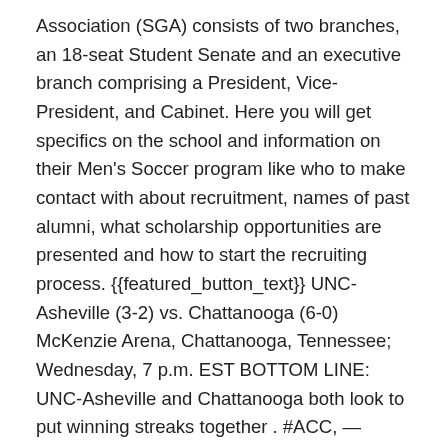Association (SGA) consists of two branches, an 18-seat Student Senate and an executive branch comprising a President, Vice-President, and Cabinet. Here you will get specifics on the school and information on their Men's Soccer program like who to make contact with about recruitment, names of past alumni, what scholarship opportunities are presented and how to start the recruiting process. {{featured_button_text}} UNC-Asheville (3-2) vs. Chattanooga (6-0) McKenzie Arena, Chattanooga, Tennessee; Wednesday, 7 p.m. EST BOTTOM LINE: UNC-Asheville and Chattanooga both look to put winning streaks together . #ACC, — Kendall Rogers (@KendallRogers) December 11, 2020. UNC Asheville's athletics teams are known as the Bulldogs. Total number of weekends could change to 12, but 14 is the proposal right now. Create your free FieldLevel profile and start targeting UA … Performance Standards of a D1 Program w/ UNC Asheville Assistant Coach Davis Fox By Soccer Doc. Edmundson qualified for the 2020 Texas 6A (big school) High School State Championship p... D1 BOUND: Tennessee da Recruiting...